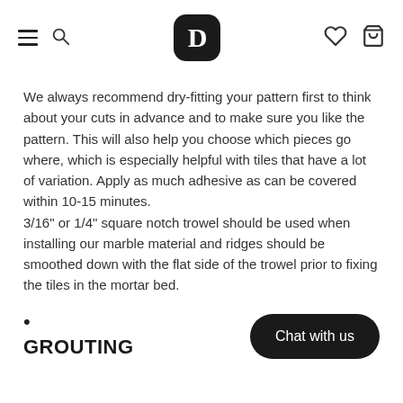D [logo] [hamburger] [search] [heart] [cart]
We always recommend dry-fitting your pattern first to think about your cuts in advance and to make sure you like the pattern. This will also help you choose which pieces go where, which is especially helpful with tiles that have a lot of variation. Apply as much adhesive as can be covered within 10-15 minutes.
3/16" or 1/4" square notch trowel should be used when installing our marble material and ridges should be smoothed down with the flat side of the trowel prior to fixing the tiles in the mortar bed.
GROUTING
Chat with us